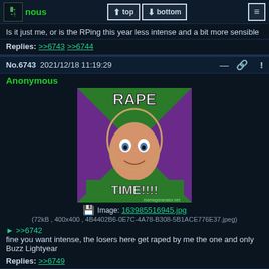nous | top | bottom | menu
Is it just me, or is the RPing this year less intense and a bit more sensible
Replies: >>6743 >>6744
No.6743 2021/12/18 11:19:29
Anonymous
[Figure (illustration): Meme image: Buzz Lightyear 'Everywhere' meme with text RAPE TIME!!!!]
Image: 163985516945.jpg
(72kB , 400x400 , 4B4402B6-0E7C-4A78-B308-5B1ACE776E37.jpeg)
>> >>6742
fine you want intense, the losers here get raped by me the one and only Buzz Lightyear
Replies: >>6749
No.6744 2021/12/18 11:21:01
Anonymous
>> >>6742
On this very site you can view the old threads and verify that yes, in fact, the RP is significantly...